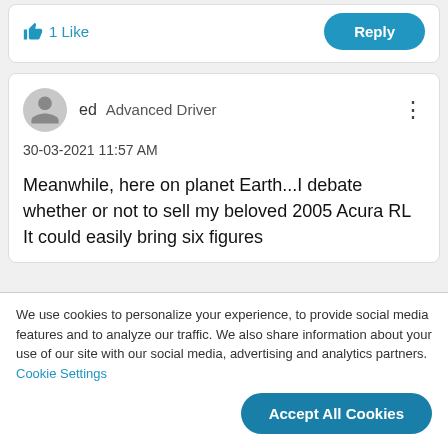[Figure (other): Thumbs up like icon with '1 Like' text in blue, and a blue 'Reply' rounded button on the right]
[Figure (other): User avatar (gray silhouette circle), username 'ed  Advanced Driver', three-dot menu icon]
30-03-2021 11:57 AM
Meanwhile, here on planet Earth...I debate whether or not to sell my beloved 2005 Acura RL  It could easily bring six figures
We use cookies to personalize your experience, to provide social media features and to analyze our traffic. We also share information about your use of our site with our social media, advertising and analytics partners. Cookie Settings
Accept All Cookies